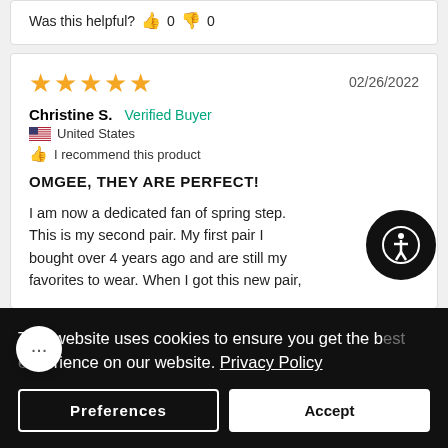Was this helpful? 👍 0 👎 0
★★★★★  02/26/2022
Christine S.  Verified Buyer
🇺🇸 United States
👍 I recommend this product
OMGEE, THEY ARE PERFECT!
I am now a dedicated fan of spring step. This is my second pair. My first pair I bought over 4 years ago and are still my favorites to wear. When I got this new pair,
This website uses cookies to ensure you get the best experience on our website. Privacy Policy
Preferences
Accept